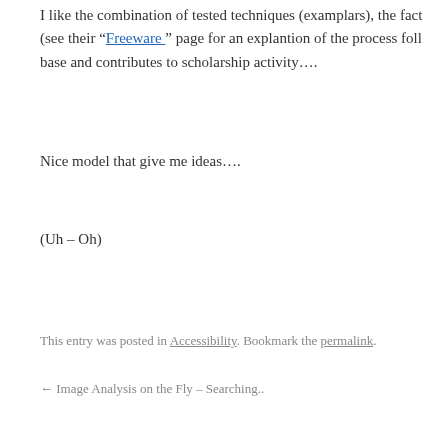I like the combination of tested techniques (examplars), the fact (see their “Freeware ” page for an explantion of the process foll base and contributes to scholarship activity….
Nice model that give me ideas….
(Uh – Oh)
This entry was posted in Accessibility. Bookmark the permalink.
← Image Analysis on the Fly – Searching..